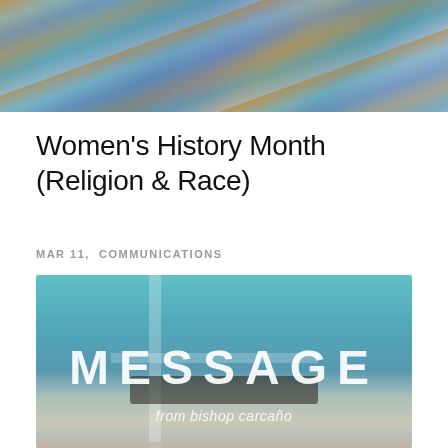[Figure (photo): Top decorative banner image with colorful mosaic or stained-glass-like artistic pattern in blues, golds, and greens]
Women's History Month (Religion & Race)
MAR 11,  COMMUNICATIONS
[Figure (photo): Photo of Bishop Carcaño speaking at a podium with large white text reading 'MESSAGE' overlaid, and subtitle text 'from bishop carcaño' below. Background is teal/blue with a cross visible.]